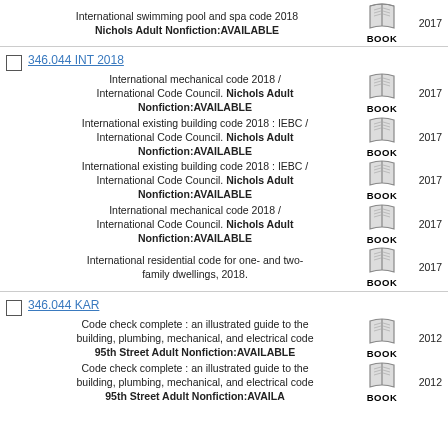International swimming pool and spa code 2018 Nichols Adult Nonfiction:AVAILABLE 2017 BOOK
346.044 INT 2018
International mechanical code 2018 / International Code Council. Nichols Adult Nonfiction:AVAILABLE 2017 BOOK
International existing building code 2018 : IEBC / International Code Council. Nichols Adult Nonfiction:AVAILABLE 2017 BOOK
International existing building code 2018 : IEBC / International Code Council. Nichols Adult Nonfiction:AVAILABLE 2017 BOOK
International mechanical code 2018 / International Code Council. Nichols Adult Nonfiction:AVAILABLE 2017 BOOK
International residential code for one- and two-family dwellings, 2018. 2017 BOOK
346.044 KAR
Code check complete : an illustrated guide to the building, plumbing, mechanical, and electrical code 95th Street Adult Nonfiction:AVAILABLE 2012 BOOK
Code check complete : an illustrated guide to the building, plumbing, mechanical, and electrical code 95th Street Adult Nonfiction:AVAILABLE 2012 BOOK